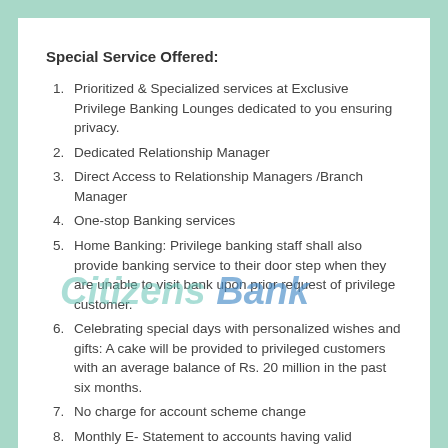Special Service Offered:
Prioritized & Specialized services at Exclusive Privilege Banking Lounges dedicated to you ensuring privacy.
Dedicated Relationship Manager
Direct Access to Relationship Managers /Branch Manager
One-stop Banking services
Home Banking: Privilege banking staff shall also provide banking service to their door step when they are unable to visit bank upon prior request of privilege customer.
Celebrating special days with personalized wishes and gifts: A cake will be provided to privileged customers with an average balance of Rs. 20 million in the past six months.
No charge for account scheme change
Monthly E- Statement to accounts having valid